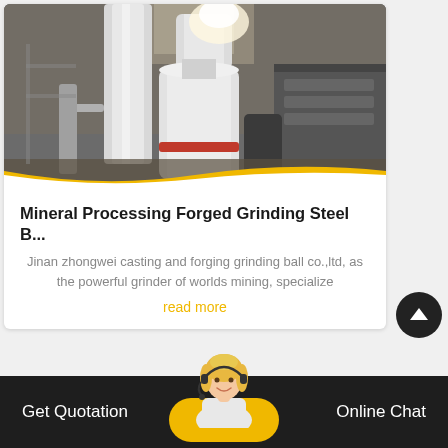[Figure (photo): Industrial mineral processing machinery with white cylindrical grinding mill equipment inside a factory/warehouse setting. Large white pipes and a red-banded cylindrical component are visible.]
Mineral Processing Forged Grinding Steel B...
Jinan zhongwei casting and forging grinding ball co.,ltd, as the powerful grinder of worlds mining, specialize
read more
[Figure (photo): Customer service agent - blonde woman with headset/microphone, smiling, positioned at center bottom of footer area]
Get Quotation    Online Chat